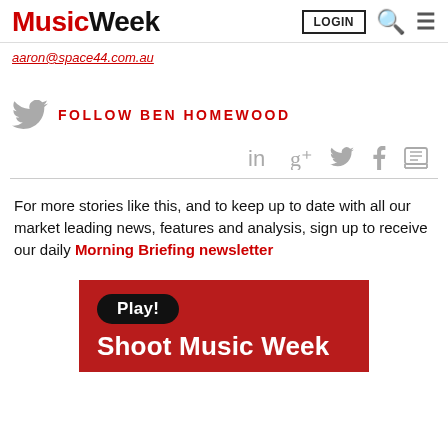Music Week | LOGIN
aaron@space44.com.au
FOLLOW BEN HOMEWOOD
[Figure (other): Social share icons: LinkedIn, Google+, Twitter, Facebook, Print]
For more stories like this, and to keep up to date with all our market leading news, features and analysis, sign up to receive our daily Morning Briefing newsletter
[Figure (other): Advertisement banner with red background showing Play! badge and text Shoot Music Week]